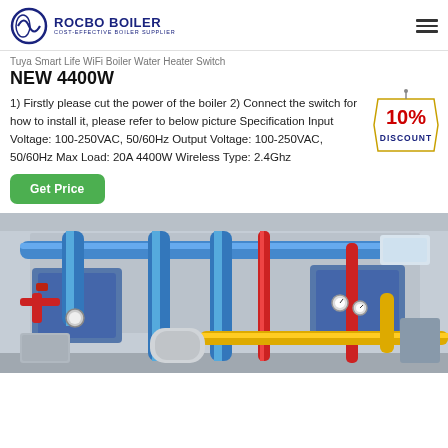ROCBO BOILER — COST-EFFECTIVE BOILER SUPPLIER
Tuya Smart Life WiFi Boiler Water Heater Switch NEW 4400W
1) Firstly please cut the power of the boiler 2) Connect the switch for how to install it, please refer to below picture Specification Input Voltage: 100-250VAC, 50/60Hz Output Voltage: 100-250VAC, 50/60Hz Max Load: 20A 4400W Wireless Type: 2.4Ghz
[Figure (infographic): 10% DISCOUNT badge/tag in red and blue]
Get Price
[Figure (photo): Industrial boiler room with blue pipes, red pipes, yellow pipes, and boiler equipment]